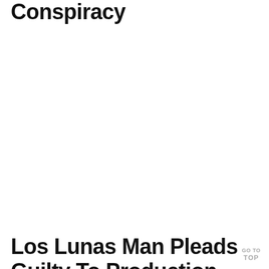Conspiracy
Los Lunas Man Pleads Guilty To Production Of Child Pornography